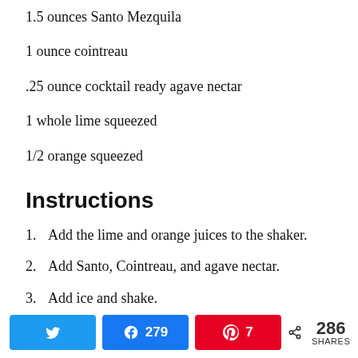1.5 ounces Santo Mezquila
1 ounce cointreau
.25 ounce cocktail ready agave nectar
1 whole lime squeezed
1/2 orange squeezed
Instructions
1. Add the lime and orange juices to the shaker.
2. Add Santo, Cointreau, and agave nectar.
3. Add ice and shake.
4. Pour into margarita glass and serve.
279 Facebook shares, 7 Pinterest saves, 286 total shares